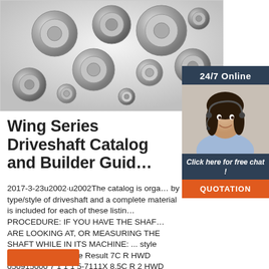[Figure (photo): Photo of multiple steel ball bearings of various sizes scattered on a light grey/white surface, viewed from above.]
[Figure (photo): 24/7 Online chat service panel showing a smiling woman with a headset, 'Click here for free chat!' text, and an orange QUOTATION button.]
Wing Series Driveshaft Catalog and Builder Guide
2017-3-23u2002·u2002The catalog is organized by type/style of driveshaft and a complete material is included for each of these listings. PROCEDURE: IF YOU HAVE THE SHAFT YOU ARE LOOKING AT, OR MEASURING THE SHAFT WHILE IN ITS MACHINE: ... style Bearing block B style Result 7C R HWD 050915000 7 1 1 1 5-7111X 8.5C R 2 HWD 2LWT 050261000 85 1 1 4 5-85114X